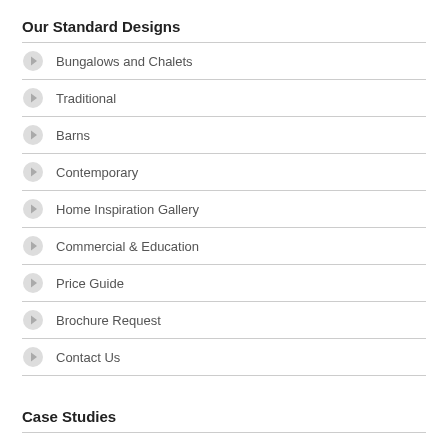Our Standard Designs
Bungalows and Chalets
Traditional
Barns
Contemporary
Home Inspiration Gallery
Commercial & Education
Price Guide
Brochure Request
Contact Us
Case Studies